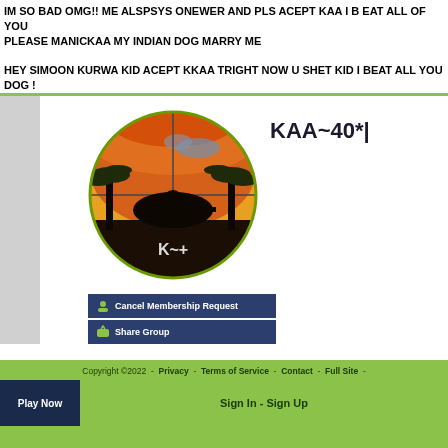IM SO BAD OMG!! ME ALSPSYS ONEWER AND PLS ACEPT KAA I B EAT ALL OF YOU
PLEASE MANICKAA MY INDIAN DOG MARRY ME

HEY SIMOON KURWA KID ACEPT KKAA TRIGHT NOW U SHET KID I BEAT ALL YOU DOG !
[Figure (screenshot): Screenshot of a gaming group profile page showing a circular avatar with a sniper silhouette on an orange sunset background, the group name 'KAA~40*|', and buttons for 'Cancel Membership Request' and 'Share Group'.]
Copyright ©2022  -  Privacy  -  Terms of Service  -  Contact  -  Full Site  -  Sign In  -  Sign Up
Play Now